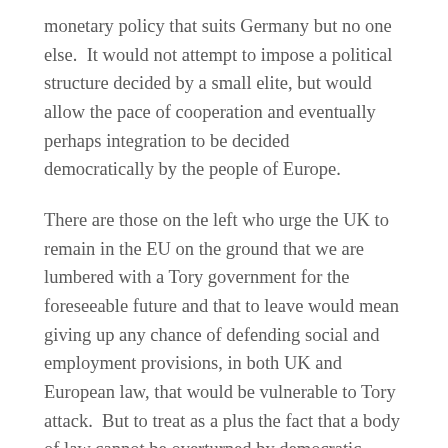monetary policy that suits Germany but no one else. It would not attempt to impose a political structure decided by a small elite, but would allow the pace of cooperation and eventually perhaps integration to be decided democratically by the people of Europe.
There are those on the left who urge the UK to remain in the EU on the ground that we are lumbered with a Tory government for the foreseeable future and that to leave would mean giving up any chance of defending social and employment provisions, in both UK and European law, that would be vulnerable to Tory attack. But to treat as a plus the fact that a body of law cannot be overturned by democratic decision or through the exercise of the powers of self-government is surely an extraordinary position for the left to take; such a defeatist and anti-democratic argument should not be countenanced by any democrat or anyone prepared to